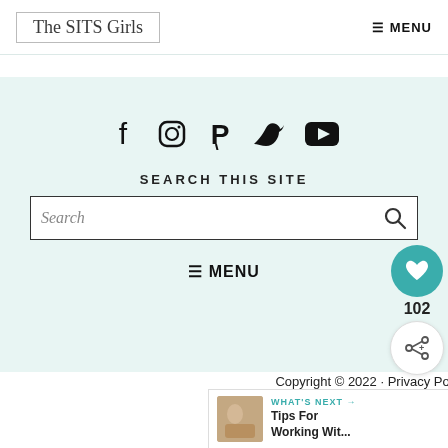The SITS Girls | MENU
[Figure (infographic): Social media icons row: Facebook, Instagram, Pinterest, Twitter, YouTube]
SEARCH THIS SITE
Search
MENU
Copyright © 2022 · Privacy Policy · Terms
Exclusive Member of Mediavine Home
[Figure (infographic): Floating share widget with heart icon (teal), count 102, and share icon]
[Figure (infographic): What's Next bar: Tips For Working Wit...]